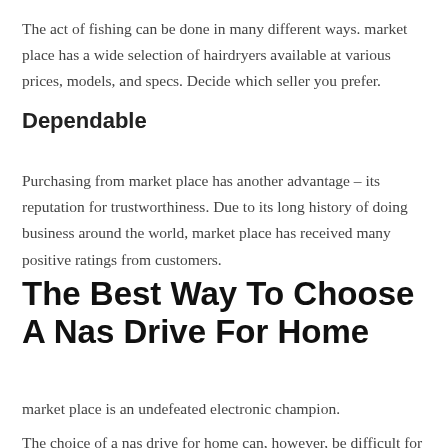The act of fishing can be done in many different ways. market place has a wide selection of hairdryers available at various prices, models, and specs. Decide which seller you prefer.
Dependable
Purchasing from market place has another advantage – its reputation for trustworthiness. Due to its long history of doing business around the world, market place has received many positive ratings from customers.
The Best Way To Choose A Nas Drive For Home
market place is an undefeated electronic champion.
The choice of a nas drive for home can, however, be difficult for a newbie. Choosing the right product can be a challenge even for